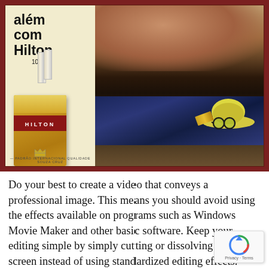[Figure (photo): Vintage Hilton 100mm cigarette advertisement showing a gold cigarette pack labeled HILTON on the left against a cream background with text 'além com Hilton 100mm', and a beach scene on the right with a person, a yellow hat with glasses, and a blue patterned cloth. Footer reads: PADRÃO INTERNACIONAL QUALIDADE SOUZA CRUZ]
Do your best to create a video that conveys a professional image. This means you should avoid using the effects available on programs such as Windows Movie Maker and other basic software. Keep your editing simple by simply cutting or dissolving to a black screen instead of using standardized editing effects.